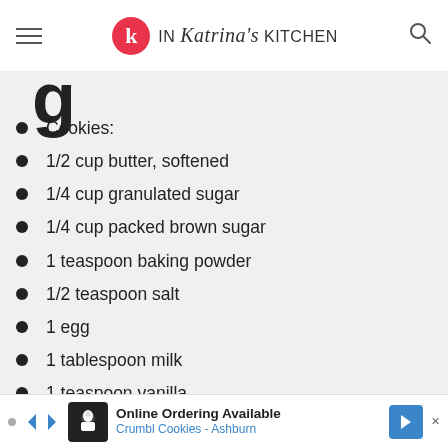IN Katrina's KITCHEN
Cookies:
1/2 cup butter, softened
1/4 cup granulated sugar
1/4 cup packed brown sugar
1 teaspoon baking powder
1/2 teaspoon salt
1 egg
1 tablespoon milk
1 teaspoon vanilla
Online Ordering Available · Crumbl Cookies - Ashburn